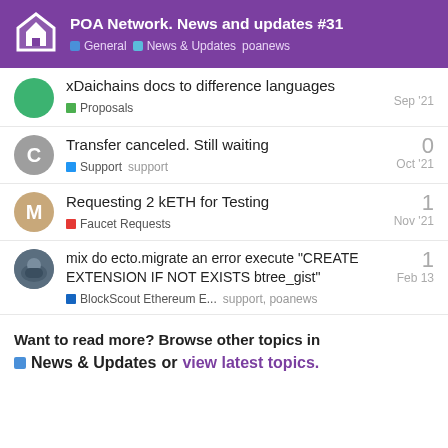POA Network. News and updates #31 | General | News & Updates | poanews
xDaichains docs to difference languages — Proposals — Sep '21
Transfer canceled. Still waiting — 0 — Support, support — Oct '21
Requesting 2 kETH for Testing — 1 — Faucet Requests — Nov '21
mix do ecto.migrate an error execute "CREATE EXTENSION IF NOT EXISTS btree_gist" — 1 — BlockScout Ethereum E..., support, poanews — Feb 13
Want to read more? Browse other topics in News & Updates or view latest topics.